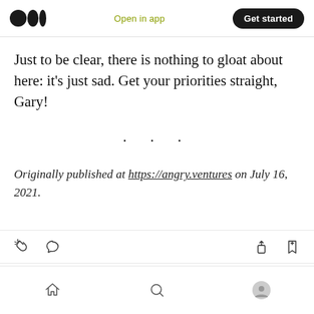Medium logo | Open in app | Get started
Just to be clear, there is nothing to gloat about here: it's just sad. Get your priorities straight, Gary!
· · ·
Originally published at https://angry.ventures on July 16, 2021.